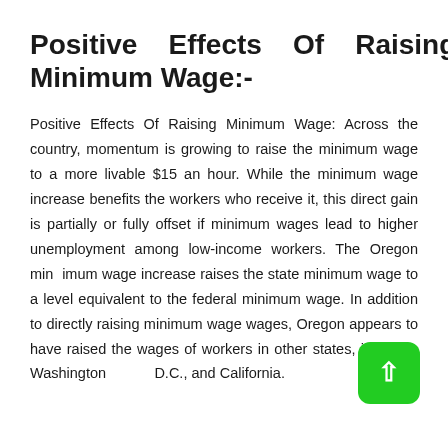Positive Effects Of Raising Minimum Wage:-
Positive Effects Of Raising Minimum Wage: Across the country, momentum is growing to raise the minimum wage to a more livable $15 an hour. While the minimum wage increase benefits the workers who receive it, this direct gain is partially or fully offset if minimum wages lead to higher unemployment among low-income workers. The Oregon min imum wage increase raises the state minimum wage to a level equivalent to the federal minimum wage. In addition to directly raising minimum wage wages, Oregon appears to have raised the wages of workers in other states, including Washington D.C., and California.